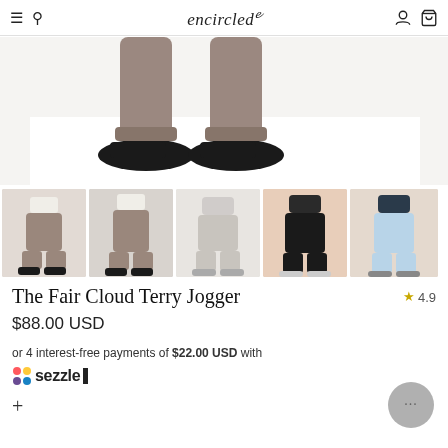encircled
[Figure (photo): Close-up of lower body of model wearing mauve/taupe jogger pants with black flat mule shoes on white background]
[Figure (photo): Thumbnail strip of 5 product photos: 1) Model in white tank and taupe joggers; 2) Same model full body; 3) Model in grey sweatshirt and light joggers; 4) Model in black long-sleeve and black joggers; 5) Model in navy top and light blue joggers]
The Fair Cloud Terry Jogger
4.9
$88.00 USD
or 4 interest-free payments of $22.00 USD with sezzle